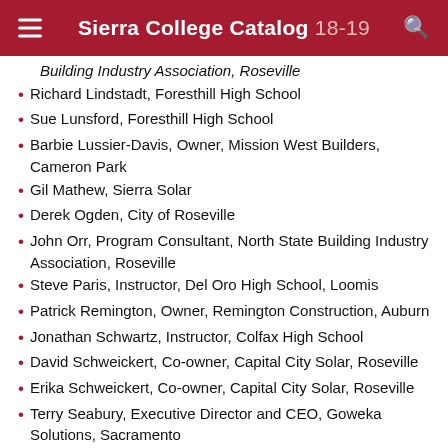Sierra College Catalog 18-19
Building Industry Association, Roseville
Richard Lindstadt, Foresthill High School
Sue Lunsford, Foresthill High School
Barbie Lussier-Davis, Owner, Mission West Builders, Cameron Park
Gil Mathew, Sierra Solar
Derek Ogden, City of Roseville
John Orr, Program Consultant, North State Building Industry Association, Roseville
Steve Paris, Instructor, Del Oro High School, Loomis
Patrick Remington, Owner, Remington Construction, Auburn
Jonathan Schwartz, Instructor, Colfax High School
David Schweickert, Co-owner, Capital City Solar, Roseville
Erika Schweickert, Co-owner, Capital City Solar, Roseville
Terry Seabury, Executive Director and CEO, Goweka Solutions, Sacramento
Terri Shirhall, City of Roseville